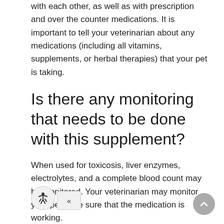with each other, as well as with prescription and over the counter medications. It is important to tell your veterinarian about any medications (including all vitamins, supplements, or herbal therapies) that your pet is taking.
Is there any monitoring that needs to be done with this supplement?
When used for toxicosis, liver enzymes, electrolytes, and a complete blood count may be monitored. Your veterinarian may monitor your pet to be sure that the medication is working.